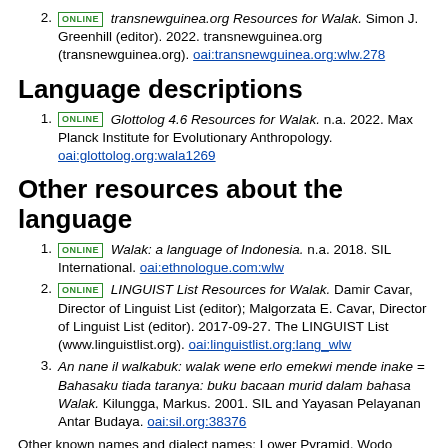2. ONLINE transnewguinea.org Resources for Walak. Simon J. Greenhill (editor). 2022. transnewguinea.org (transnewguinea.org). oai:transnewguinea.org:wlw.278
Language descriptions
1. ONLINE Glottolog 4.6 Resources for Walak. n.a. 2022. Max Planck Institute for Evolutionary Anthropology. oai:glottolog.org:wala1269
Other resources about the language
1. ONLINE Walak: a language of Indonesia. n.a. 2018. SIL International. oai:ethnologue.com:wlw
2. ONLINE LINGUIST List Resources for Walak. Damir Cavar, Director of Linguist List (editor); Malgorzata E. Cavar, Director of Linguist List (editor). 2017-09-27. The LINGUIST List (www.linguistlist.org). oai:linguistlist.org:lang_wlw
3. An nane il walkabuk: walak wene erlo emekwi mende inake = Bahasaku tiada taranya: buku bacaan murid dalam bahasa Walak. Kilungga, Markus. 2001. SIL and Yayasan Pelayanan Antar Budaya. oai:sil.org:38376
Other known names and dialect names: Lower Pyramid, Wodo
Other search terms: dialect, vernacular, lexicon, dictionary,